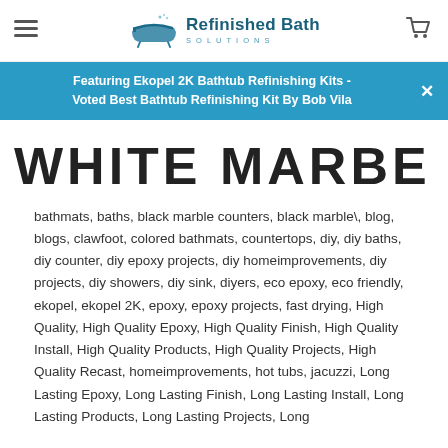Refinished Bath Solutions
Featuring Ekopel 2K Bathtub Refinishing Kits - Voted Best Bathtub Refinishing Kit By Bob Vila
WHITE MARBE
bathmats, baths, black marble counters, black marble\, blog, blogs, clawfoot, colored bathmats, countertops, diy, diy baths, diy counter, diy epoxy projects, diy homeimprovements, diy projects, diy showers, diy sink, diyers, eco epoxy, eco friendly, ekopel, ekopel 2K, epoxy, epoxy projects, fast drying, High Quality, High Quality Epoxy, High Quality Finish, High Quality Install, High Quality Products, High Quality Projects, High Quality Recast, homeimprovements, hot tubs, jacuzzi, Long Lasting Epoxy, Long Lasting Finish, Long Lasting Install, Long Lasting Products, Long Lasting Projects, Long